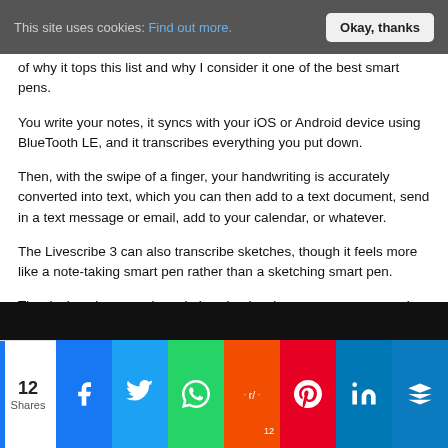This site uses cookies: Find out more.   Okay, thanks
of why it tops this list and why I consider it one of the best smart pens.
You write your notes, it syncs with your iOS or Android device using BlueTooth LE, and it transcribes everything you put down.
Then, with the swipe of a finger, your handwriting is accurately converted into text, which you can then add to a text document, send in a text message or email, add to your calendar, or whatever.
The Livescribe 3 can also transcribe sketches, though it feels more like a note-taking smart pen rather than a sketching smart pen.
The device also records and plays back voice memos, even syncing the audio with when you wrote down a certain string of words.
[Figure (screenshot): Partial screenshot of a dark image at the bottom of the article]
12 Shares | Social share buttons: Facebook, Twitter, WhatsApp, Reddit (12), Pinterest, LinkedIn, Mix